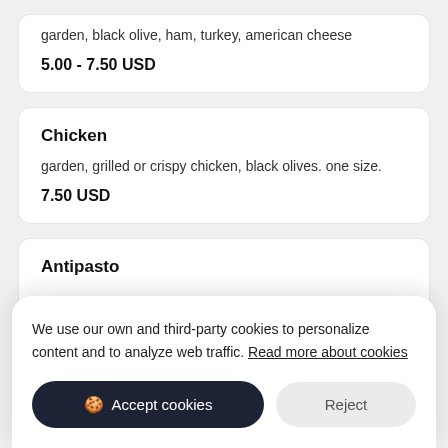garden, black olive, ham, turkey, american cheese
5.00 - 7.50 USD
Chicken
garden, grilled or crispy chicken, black olives. one size.
7.50 USD
Antipasto
We use our own and third-party cookies to personalize content and to analyze web traffic. Read more about cookies
Accept cookies
Reject